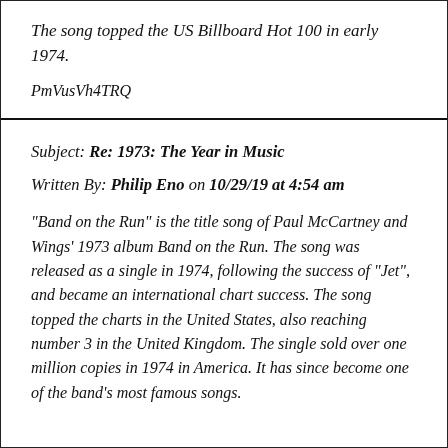The song topped the US Billboard Hot 100 in early 1974.
PmVusVh4TRQ
Subject: Re: 1973: The Year in Music
Written By: Philip Eno on 10/29/19 at 4:54 am
"Band on the Run" is the title song of Paul McCartney and Wings' 1973 album Band on the Run. The song was released as a single in 1974, following the success of "Jet", and became an international chart success. The song topped the charts in the United States, also reaching number 3 in the United Kingdom. The single sold over one million copies in 1974 in America. It has since become one of the band's most famous songs.